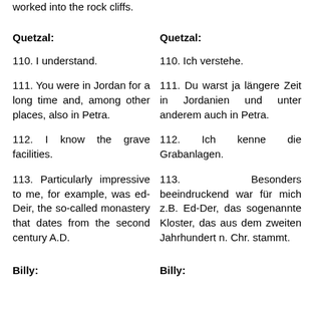worked into the rock cliffs.
Quetzal:
110. I understand.
111. You were in Jordan for a long time and, among other places, also in Petra.
112. I know the grave facilities.
113. Particularly impressive to me, for example, was ed-Deir, the so-called monastery that dates from the second century A.D.
Quetzal:
110. Ich verstehe.
111. Du warst ja längere Zeit in Jordanien und unter anderem auch in Petra.
112. Ich kenne die Grabanlagen.
113. Besonders beeindruckend war für mich z.B. Ed-Der, das sogenannte Kloster, das aus dem zweiten Jahrhundert n. Chr. stammt.
Billy:
Billy: